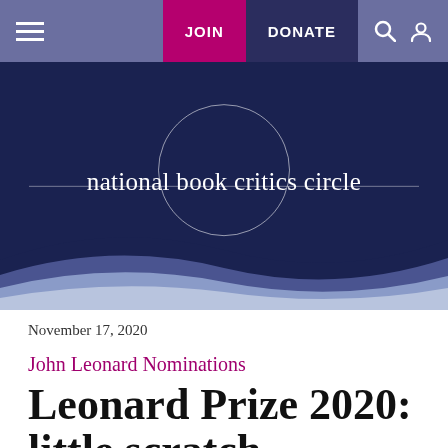[Figure (screenshot): National Book Critics Circle website navigation bar with hamburger menu, JOIN button (magenta), DONATE button (dark navy), search and user icons]
[Figure (logo): National Book Critics Circle logo: white text reading 'national book critics circle' on dark navy background with a circle outline around the word 'critics']
November 17, 2020
John Leonard Nominations
Leonard Prize 2020: little scratch